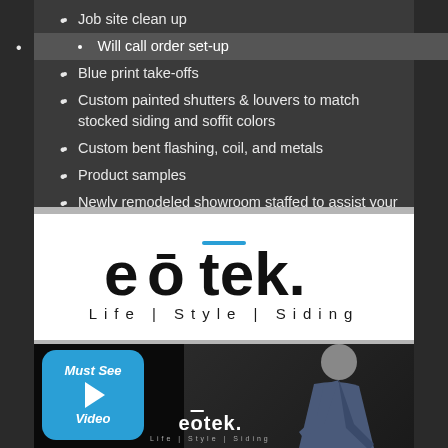Job site clean up
Will call order set-up
Blue print take-offs
Custom painted shutters & louvers to match stocked siding and soffit colors
Custom bent flashing, coil, and metals
Product samples
Newly remodeled showroom staffed to assist your customers with color selections
[Figure (logo): eotek logo with macron over the o, and tagline Life | Style | Siding]
[Figure (screenshot): Video thumbnail showing Must See Video badge in blue with play button, eotek logo, and worker bending down on dark background]